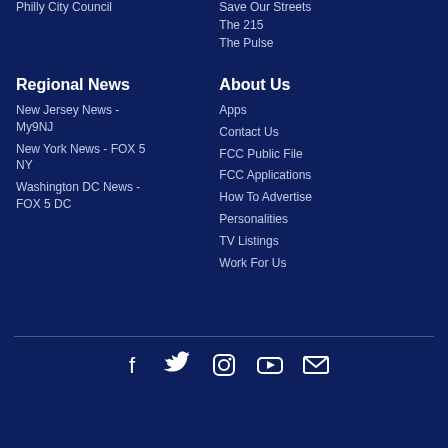Philly City Council
Save Our Streets
The 215
The Pulse
Regional News
About Us
New Jersey News - My9NJ
Apps
New York News - FOX 5 NY
Contact Us
Washington DC News - FOX 5 DC
FCC Public File
FCC Applications
How To Advertise
Personalities
TV Listings
Work For Us
[Figure (infographic): Social media icons row: Facebook, Twitter, Instagram, YouTube, Email]